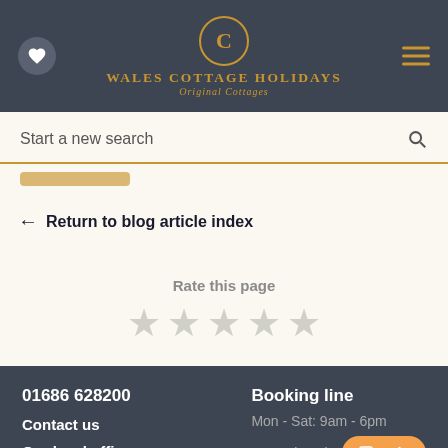Wales Cottage Holidays — Original Cottages
Start a new search
← Return to blog article index
Rate this page ★★★★★
01686 628200 | Contact us | Our local offices | Booking line | Mon - Sat: 9am - 6pm | Sun: Closed | Help